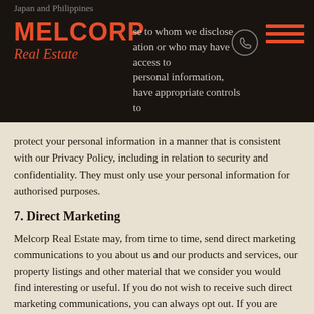Japan and Philippines
those to whom we disclose information or who may have access to personal information, have appropriate controls to protect your personal information in a manner that is consistent with our Privacy Policy, including in relation to security and confidentiality. They must only use your personal information for authorised purposes.
7. Direct Marketing
Melcorp Real Estate may, from time to time, send direct marketing communications to you about us and our products and services, our property listings and other material that we consider you would find interesting or useful. If you do not wish to receive such direct marketing communications, you can always opt out. If you are receiving email communications from us, there will be a mechanism to opt out contained in each of those emails. To stop receiving other communications